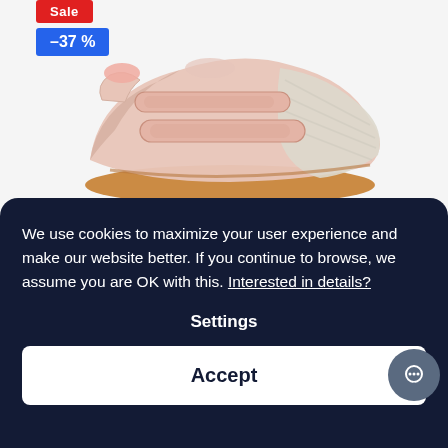[Figure (photo): Pink children's sneaker with velcro straps, beige mesh toe and brown gum sole, shown on white background. A red 'Sale' badge and blue '-37%' discount badge appear in the top left.]
We use cookies to maximize your user experience and make our website better. If you continue to browse, we assume you are OK with this. Interested in details?
Settings
Accept